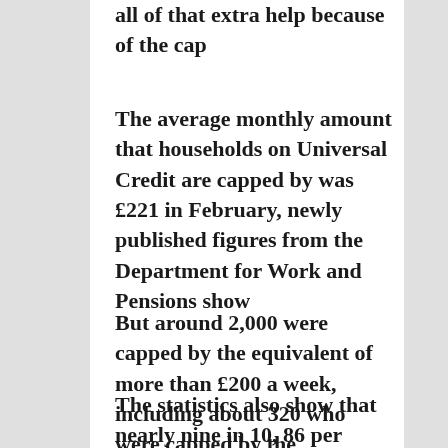all of that extra help because of the cap
The average monthly amount that households on Universal Credit are capped by was £221 in February, newly published figures from the Department for Work and Pensions show
But around 2,000 were capped by the equivalent of more than £200 a week, including about 320 who were capped by the equivalent of more than £300 per week
The statistics also show that nearly nine in 10, 86 per cent, of capped households have children Last month 2,400 on average that is about 0.2 of